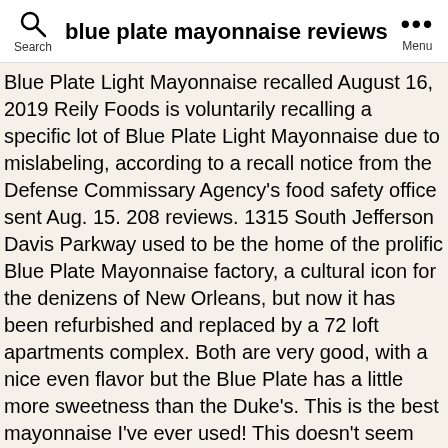blue plate mayonnaise reviews
Blue Plate Light Mayonnaise recalled August 16, 2019 Reily Foods is voluntarily recalling a specific lot of Blue Plate Light Mayonnaise due to mislabeling, according to a recall notice from the Defense Commissary Agency's food safety office sent Aug. 15. 208 reviews. 1315 South Jefferson Davis Parkway used to be the home of the prolific Blue Plate Mayonnaise factory, a cultural icon for the denizens of New Orleans, but now it has been refurbished and replaced by a 72 loft apartments complex. Both are very good, with a nice even flavor but the Blue Plate has a little more sweetness than the Duke's. This is the best mayonnaise I've ever used! This doesn't seem possible ... it's just mayonnaise, right? it was even better than I thought it would be. amzn_assoc_default_category = "All"; Our Favorite Mayonnaise: Blue Plate This New Orleans–born mayo has a cult following, and now we know why. Verified Purchase. We included everything from classic